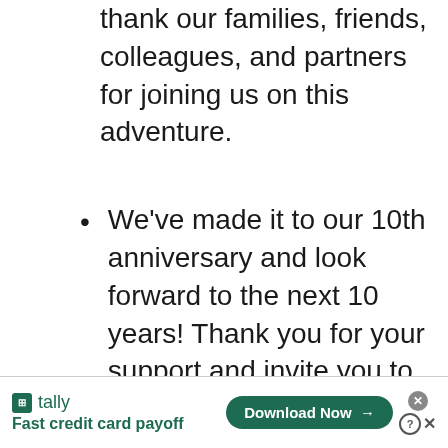thank our families, friends, colleagues, and partners for joining us on this adventure.
We've made it to our 10th anniversary and look forward to the next 10 years! Thank you for your support and invite you to join us in celebrating.
[Figure (infographic): Tally advertisement banner: logo with green icon, 'Fast credit card payoff' tagline, and a green 'Download Now →' button with close/help icons.]